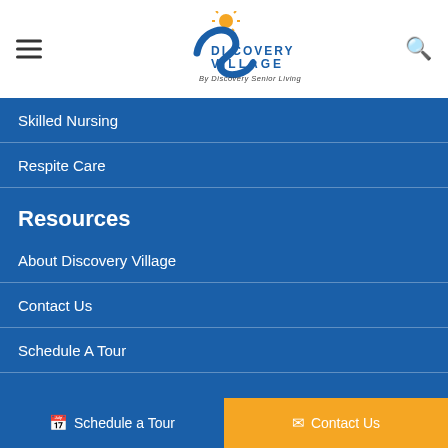Discovery Village By Discovery Senior Living
Skilled Nursing
Respite Care
Resources
About Discovery Village
Contact Us
Schedule A Tour
Schedule a Tour   Contact Us